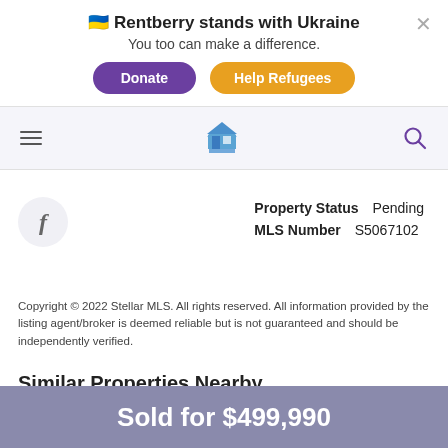🇺🇦 Rentberry stands with Ukraine
You too can make a difference.
Donate | Help Refugees
[Figure (screenshot): Rentberry navigation bar with hamburger menu, house logo icon, and search icon]
[Figure (logo): Facebook 'f' icon in a light circular button]
Property Status   Pending
MLS Number   S5067102
Copyright © 2022 Stellar MLS. All rights reserved. All information provided by the listing agent/broker is deemed reliable but is not guaranteed and should be independently verified.
Similar Properties Nearby
Sold for $499,990